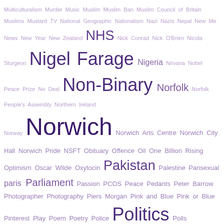[Figure (other): Word cloud featuring terms from M through R, in varying sizes and shades of purple indicating frequency/importance. Largest words include Norwich, Politics, Racism, Non-Binary, NHS, Nigel Farage, Religion, Remain, Refugees, Russia.]